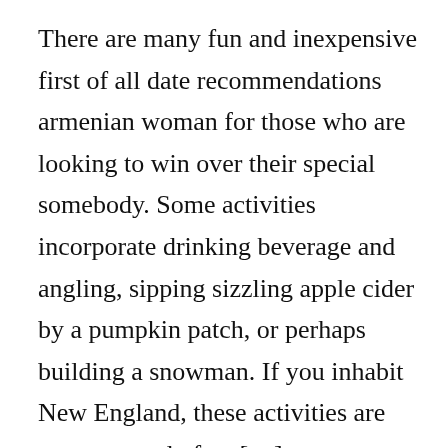There are many fun and inexpensive first of all date recommendations armenian woman for those who are looking to win over their special somebody. Some activities incorporate drinking beverage and angling, sipping sizzling apple cider by a pumpkin patch, or perhaps building a snowman. If you inhabit New England, these activities are common and often […]
[partial footer text cut off]